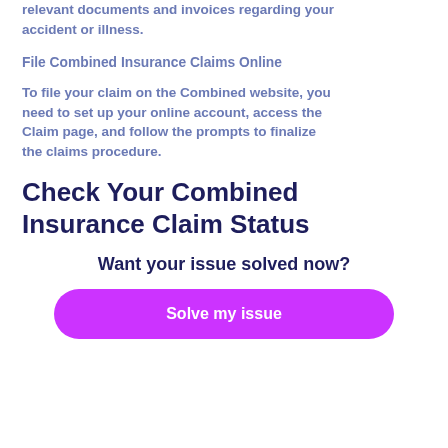relevant documents and invoices regarding your accident or illness.
File Combined Insurance Claims Online
To file your claim on the Combined website, you need to set up your online account, access the Claim page, and follow the prompts to finalize the claims procedure.
Check Your Combined Insurance Claim Status
Want your issue solved now?
Solve my issue